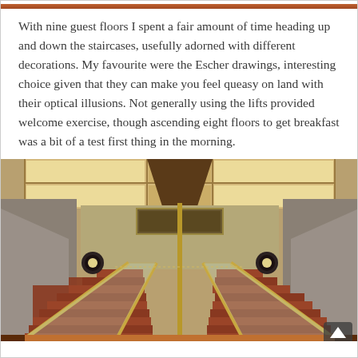[Figure (photo): Thin strip of a reddish-orange photo at the top of the page, partially cropped.]
With nine guest floors I spent a fair amount of time heading up and down the staircases, usefully adorned with different decorations. My favourite were the Escher drawings, interesting choice given that they can make you feel queasy on land with their optical illusions. Not generally using the lifts provided welcome exercise, though ascending eight floors to get breakfast was a bit of a test first thing in the morning.
[Figure (photo): Interior photo of a ship staircase with red-carpeted steps, gold/chrome handrails, glass panels, illuminated ceiling panels, wall sconce lights on either side, and a central vertical pole. An up-arrow button is visible in the bottom right corner.]